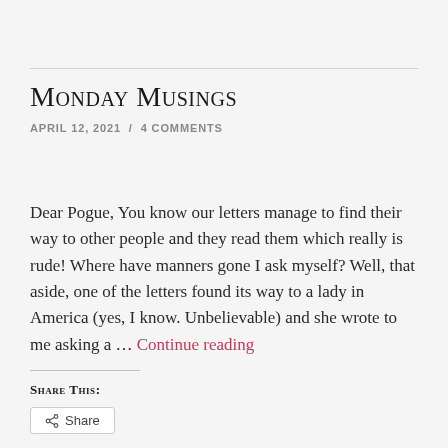Monday Musings
APRIL 12, 2021 / 4 COMMENTS
Dear Pogue, You know our letters manage to find their way to other people and they read them which really is rude! Where have manners gone I ask myself? Well, that aside, one of the letters found its way to a lady in America (yes, I know. Unbelievable) and she wrote to me asking a … Continue reading
Share this:
Share